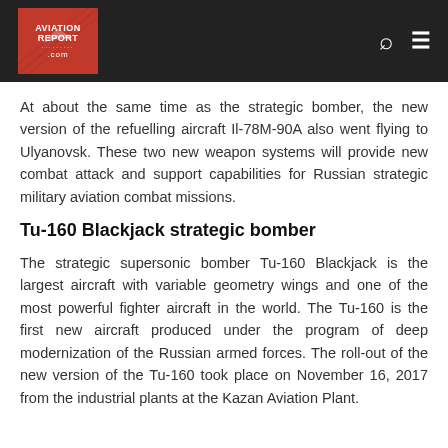AVIATION REPORT .com
At about the same time as the strategic bomber, the new version of the refuelling aircraft Il-78M-90A also went flying to Ulyanovsk. These two new weapon systems will provide new combat attack and support capabilities for Russian strategic military aviation combat missions.
Tu-160 Blackjack strategic bomber
The strategic supersonic bomber Tu-160 Blackjack is the largest aircraft with variable geometry wings and one of the most powerful fighter aircraft in the world. The Tu-160 is the first new aircraft produced under the program of deep modernization of the Russian armed forces. The roll-out of the new version of the Tu-160 took place on November 16, 2017 from the industrial plants at the Kazan Aviation Plant.